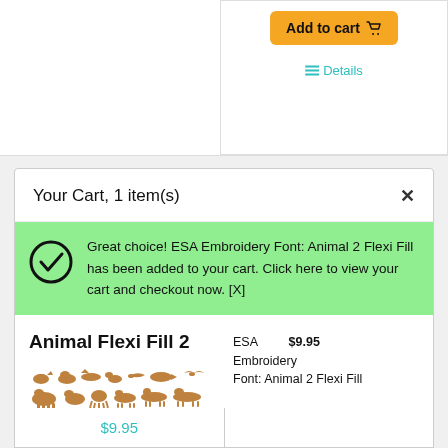[Figure (screenshot): Add to cart button (orange/yellow) with shopping cart icon]
≡ Details
Your Cart, 1 item(s)
Great choice! ESA Embroidery Font: Animal 2 Flexi Fill has been added to your cart. Click here to view your cart and checkout now. [X]
Animal Flexi Fill 2
[Figure (illustration): Brown animal silhouettes in rows — various animals including bears, deer, birds, dinosaurs, and other wildlife]
ESA Embroidery Font: Animal 2 Flexi Fill   $9.95
$9.95